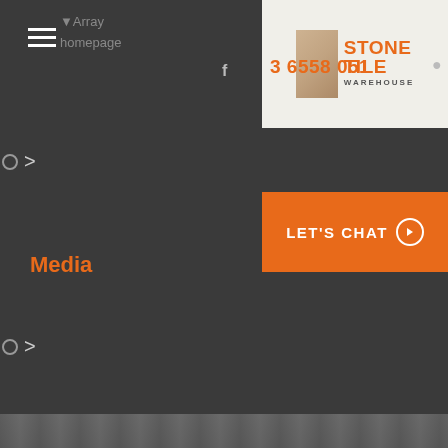Stone Tile Warehouse — Navigation page header with logo, phone number, hamburger menu
Array
homepage
>
Media
>
LIGHT-TRAVERTINE_PRODUCT-IMAGE-1
Light-Travertine_Product-Image-1